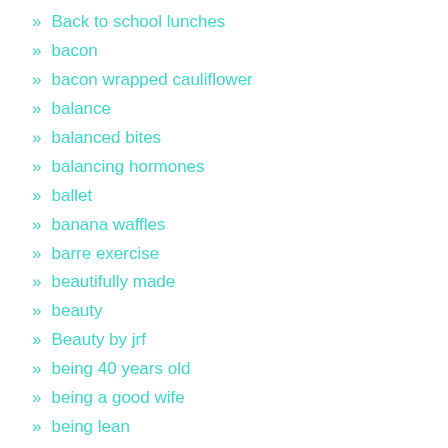Back to school lunches
bacon
bacon wrapped cauliflower
balance
balanced bites
balancing hormones
ballet
banana waffles
barre exercise
beautifully made
beauty
Beauty by jrf
being 40 years old
being a good wife
being lean